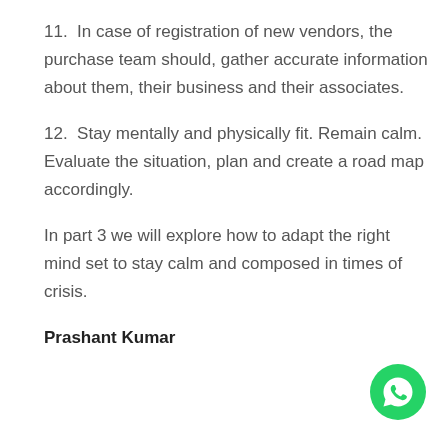11.  In case of registration of new vendors, the purchase team should, gather accurate information about them, their business and their associates.
12.  Stay mentally and physically fit. Remain calm. Evaluate the situation, plan and create a road map accordingly.
In part 3 we will explore how to adapt the right mind set to stay calm and composed in times of crisis.
Prashant Kumar